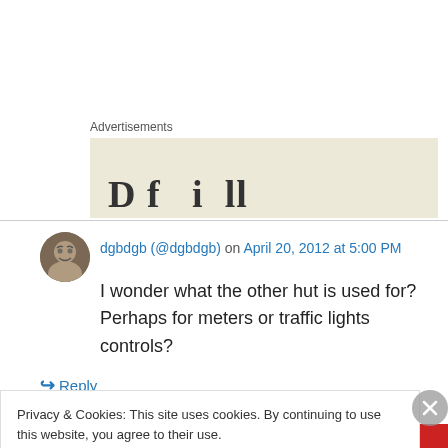Advertisements
[Figure (other): Partial advertisement banner with beige background showing cut-off bold text]
dgbdgb (@dgbdgb) on April 20, 2012 at 5:00 PM
I wonder what the other hut is used for? Perhaps for meters or traffic lights controls?
↳ Reply
Privacy & Cookies: This site uses cookies. By continuing to use this website, you agree to their use.
To find out more, including how to control cookies, see here: Cookie Policy
Close and accept